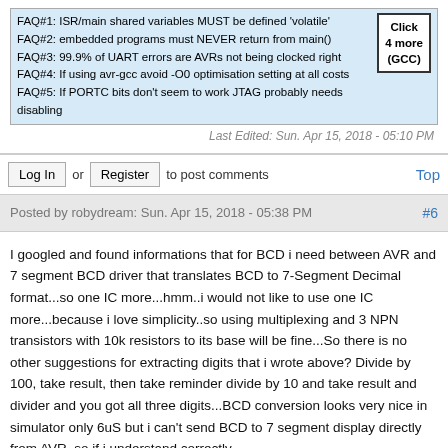FAQ#1: ISR/main shared variables MUST be defined 'volatile'
FAQ#2: embedded programs must NEVER return from main()
FAQ#3: 99.9% of UART errors are AVRs not being clocked right
FAQ#4: If using avr-gcc avoid -O0 optimisation setting at all costs
FAQ#5: If PORTC bits don't seem to work JTAG probably needs disabling
Last Edited: Sun. Apr 15, 2018 - 05:10 PM
Log In or Register to post comments   Top
Posted by robydream: Sun. Apr 15, 2018 - 05:38 PM  #6
I googled and found informations that for BCD i need between AVR and 7 segment BCD driver that translates BCD to 7-Segment Decimal format...so one IC more...hmm..i would not like to use one IC more...because i love simplicity..so using multiplexing and 3 NPN transistors with 10k resistors to its base will be fine...So there is no other suggestions for extracting digits that i wrote above? Divide by 100, take result, then take reminder divide by 10 and take result and divider and you got all three digits...BCD conversion looks very nice in simulator only 6uS but i can't send BCD to 7 segment display directly from AVR..so if i understand correctly...
Log In or Register to post comments   Top
Posted by avrcandies: Sun. Apr 15, 2018 - 05:50 PM  #7